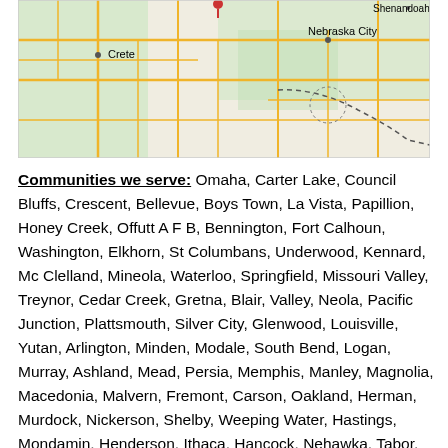[Figure (map): Road map showing area including Crete, Nebraska City, and Shenandoah with roads and green regions.]
Communities we serve: Omaha, Carter Lake, Council Bluffs, Crescent, Bellevue, Boys Town, La Vista, Papillion, Honey Creek, Offutt A F B, Bennington, Fort Calhoun, Washington, Elkhorn, St Columbans, Underwood, Kennard, Mc Clelland, Mineola, Waterloo, Springfield, Missouri Valley, Treynor, Cedar Creek, Gretna, Blair, Valley, Neola, Pacific Junction, Plattsmouth, Silver City, Glenwood, Louisville, Yutan, Arlington, Minden, Modale, South Bend, Logan, Murray, Ashland, Mead, Persia, Memphis, Manley, Magnolia, Macedonia, Malvern, Fremont, Carson, Oakland, Herman, Murdock, Nickerson, Shelby, Weeping Water, Hastings, Mondamin, Henderson, Ithaca, Hancock, Nehawka, Tabor, Union, Greenwood, Thurman, Portsmouth, Woodbine, Colon, Wahoo, Avoca, Emerson, Winslow, Avoca, Elmwood, Little Sioux, Cedar Bluffs, Pisgah, Tekamah, Alvo, Randolph, Ames, Hooper, Panama, Craig, Waverly, Ceresco, Percival, Otoe,